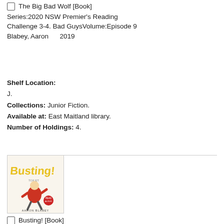The Big Bad Wolf [Book] Series:2020 NSW Premier's Reading Challenge 3-4. Bad GuysVolume:Episode 9 Blabey, Aaron       2019
Shelf Location:
J.
Collections: Junior Fiction.
Available at: East Maitland library.
Number of Holdings: 4.
[Figure (illustration): Book cover of 'Busting!' by Aaron Blabey, showing yellow stylized text 'Busting!' at top with a cartoon child figure below, red badge, white background]
Busting! [Book] Series:2018 Premier's Reading Challenge K-2 Blabey, Aaron       2017